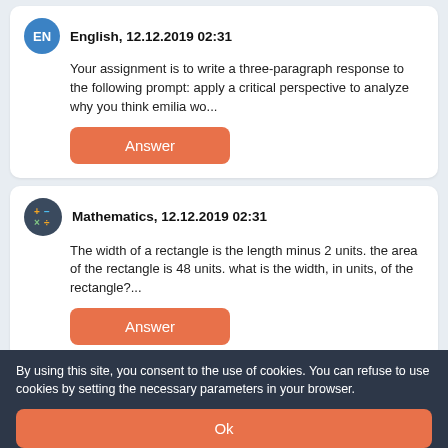English, 12.12.2019 02:31
Your assignment is to write a three-paragraph response to the following prompt: apply a critical perspective to analyze why you think emilia wo...
Answer
Mathematics, 12.12.2019 02:31
The width of a rectangle is the length minus 2 units. the area of the rectangle is 48 units. what is the width, in units, of the rectangle?...
Answer
By using this site, you consent to the use of cookies. You can refuse to use cookies by setting the necessary parameters in your browser.
Ok